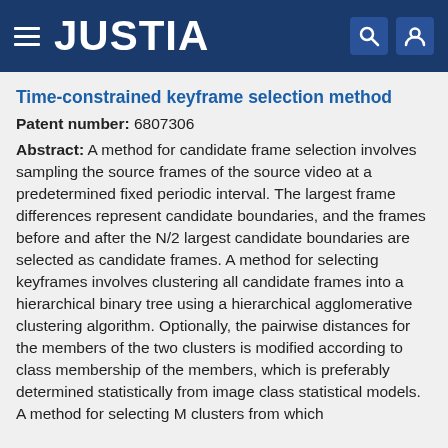JUSTIA
Time-constrained keyframe selection method
Patent number: 6807306
Abstract: A method for candidate frame selection involves sampling the source frames of the source video at a predetermined fixed periodic interval. The largest frame differences represent candidate boundaries, and the frames before and after the N/2 largest candidate boundaries are selected as candidate frames. A method for selecting keyframes involves clustering all candidate frames into a hierarchical binary tree using a hierarchical agglomerative clustering algorithm. Optionally, the pairwise distances for the members of the two clusters is modified according to class membership of the members, which is preferably determined statistically from image class statistical models. A method for selecting M clusters from which